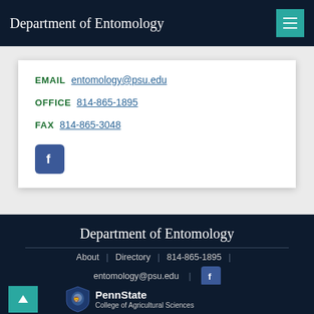Department of Entomology
EMAIL entomology@psu.edu
OFFICE 814-865-1895
FAX 814-865-3048
[Figure (logo): Facebook icon (blue rounded square with white f)]
Department of Entomology
About | Directory | 814-865-1895 |
entomology@psu.edu |
[Figure (logo): Facebook icon small (blue square with white f)]
[Figure (logo): PennState College of Agricultural Sciences shield logo with lion and text]
PennState College of Agricultural Sciences